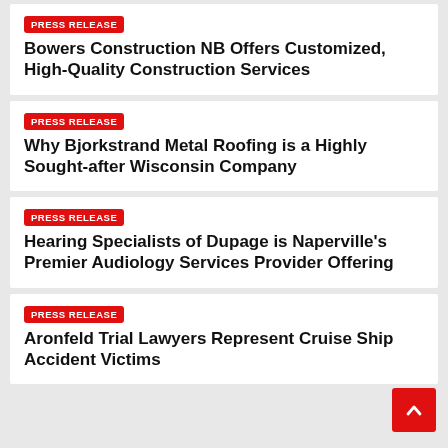PRESS RELEASE
Bowers Construction NB Offers Customized, High-Quality Construction Services
PRESS RELEASE
Why Bjorkstrand Metal Roofing is a Highly Sought-after Wisconsin Company
PRESS RELEASE
Hearing Specialists of Dupage is Naperville's Premier Audiology Services Provider Offering
PRESS RELEASE
Aronfeld Trial Lawyers Represent Cruise Ship Accident Victims